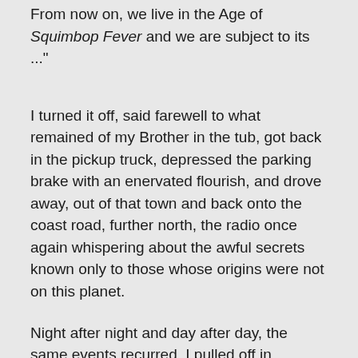From now on, we live in the Age of Squimbop Fever and we are subject to its ..."
I turned it off, said farewell to what remained of my Brother in the tub, got back in the pickup truck, depressed the parking brake with an enervated flourish, and drove away, out of that town and back onto the coast road, further north, the radio once again whispering about the awful secrets known only to those whose origins were not on this planet.
Night after night and day after day, the same events recurred. I pulled off in whatever town I happened to have arrived in at dawn, ate at the local diner, visited the Brothers Squimbop Wax Museum—every town had one—boiled off the day in my room, and then, at night, stole another sculpture of my Brother, immersed him